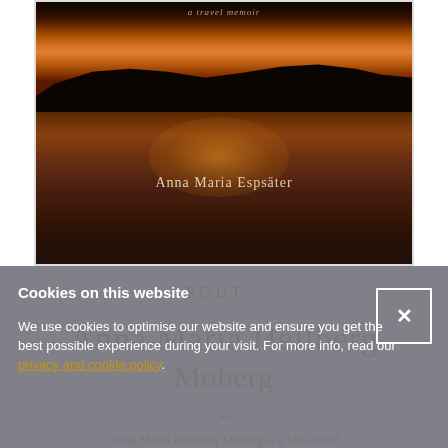[Figure (photo): Book cover showing a dramatic sunset over a lake or fjord with silhouetted hills on the horizon. Orange and red reflections shimmer on the water. Text reads 'a travel memoir' at the top and 'Anna Maria Espsäter' as the author name in the lower middle section.]
ABOUT
Anna Maria Hellberg Moberg
Anna Maria Hellberg Moberg is a UK-based
Cookies on this website
We use cookies to optimise our website and ensure you get the best possible experience during your visit. For more info, read our privacy and cookie policy.